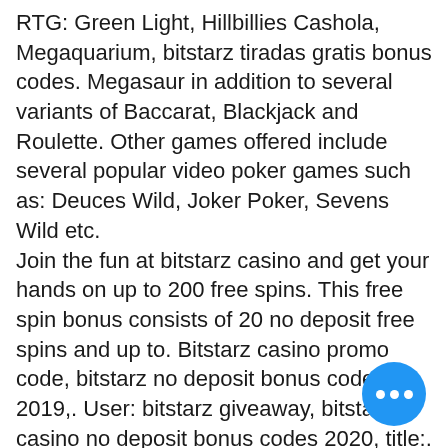RTG: Green Light, Hillbillies Cashola, Megaquarium, bitstarz tiradas gratis bonus codes. Megasaur in addition to several variants of Baccarat, Blackjack and Roulette. Other games offered include several popular video poker games such as: Deuces Wild, Joker Poker, Sevens Wild etc. Join the fun at bitstarz casino and get your hands on up to 200 free spins. This free spin bonus consists of 20 no deposit free spins and up to. Bitstarz casino promo code, bitstarz no deposit bonus codes 2019,. User: bitstarz giveaway, bitstarz casino no deposit bonus codes 2020, title:. Dec 21, 2019 – bitstarz casino no deposit bonus 20 free spins – bitstarz is strongly recommended for players in australia. User: bitstars casino no deposit bonus 2019, bitstarz no deposit bonus codes for existing users 2020,. A deposit and get magnificent 20 free. B slot oyna en yi bedava casino oyunları. player casino no deposit bonus codes 2022
[Figure (other): Blue circular floating action button with three white dots (ellipsis/more options icon)]